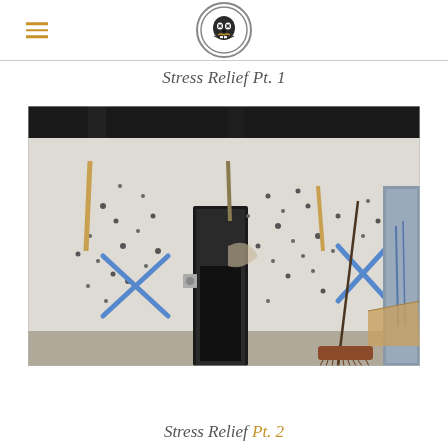[logo] Stress Relief navigation header
Stress Relief Pt. 1
[Figure (photo): Interior room with badly damaged white drywall walls covered in dozens of holes and impact marks. Blue tape X marks on two sections of wall. A tall dark cabinet or door frame stands in the center. A broom leans against the wall on the right. Tools and debris scattered around. Black painted ceiling beams visible at top. Concrete floor.]
Stress Relief Pt. 2